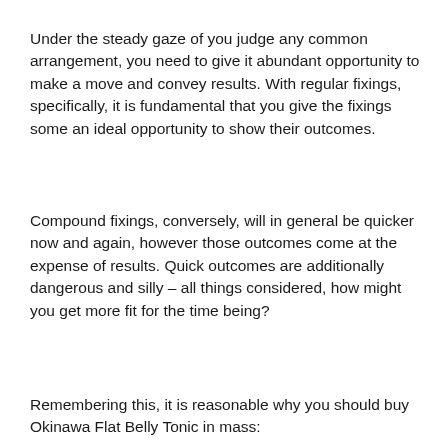Under the steady gaze of you judge any common arrangement, you need to give it abundant opportunity to make a move and convey results. With regular fixings, specifically, it is fundamental that you give the fixings some an ideal opportunity to show their outcomes.
Compound fixings, conversely, will in general be quicker now and again, however those outcomes come at the expense of results. Quick outcomes are additionally dangerous and silly – all things considered, how might you get more fit for the time being?
Remembering this, it is reasonable why you should buy Okinawa Flat Belly Tonic in mass: